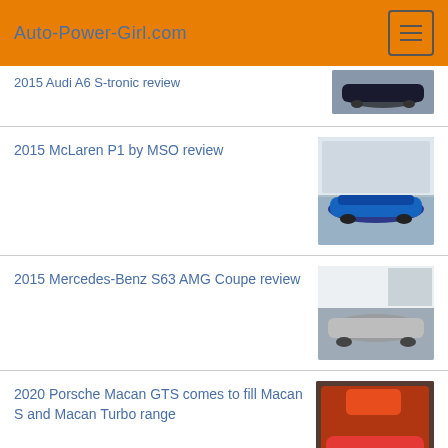Auto-Power-Girl.com
2015 Audi A6 S-tronic review
2015 McLaren P1 by MSO review
2015 Mercedes-Benz S63 AMG Coupe review
2020 Porsche Macan GTS comes to fill Macan S and Macan Turbo range
Suzuki Jimny is set to get competition from Jeep